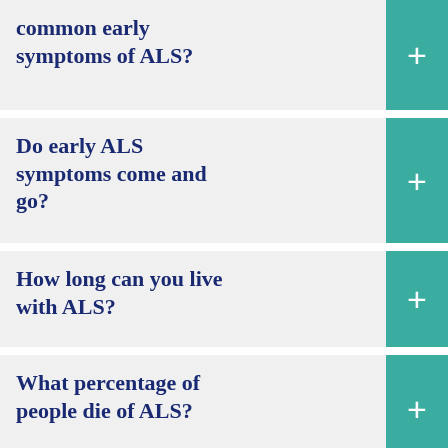common early symptoms of ALS?
Do early ALS symptoms come and go?
How long can you live with ALS?
What percentage of people die of ALS?
How is ALS different